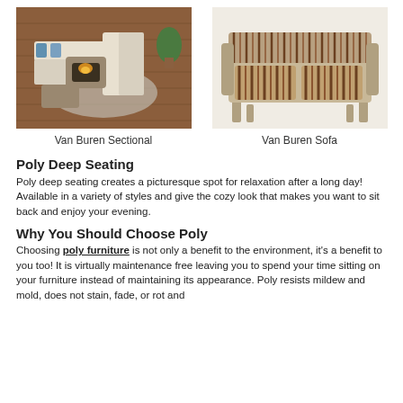[Figure (photo): Overhead view of a Van Buren Sectional outdoor furniture set on a wooden deck with fire pit table and blue accent pillows]
[Figure (photo): Van Buren Sofa with striped brown and tan cushions and a rustic wood frame]
Van Buren Sectional
Van Buren Sofa
Poly Deep Seating
Poly deep seating creates a picturesque spot for relaxation after a long day! Available in a variety of styles and give the cozy look that makes you want to sit back and enjoy your evening.
Why You Should Choose Poly
Choosing poly furniture is not only a benefit to the environment, it's a benefit to you too! It is virtually maintenance free leaving you to spend your time sitting on your furniture instead of maintaining its appearance. Poly resists mildew and mold, does not stain, fade, or rot and